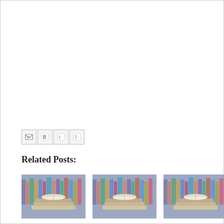[Figure (infographic): Social sharing icons: Email (M), Blogger (B), Twitter (t), Facebook (f) — four small square icon buttons with gray borders]
Related Posts:
[Figure (photo): Stack of books with one open on top, blurred bookshelf background — thumbnail for Samacheer Kalvi 3rd English Guide, Textbook Solutions & Answers Free]
Samacheer Kalvi 3rd English Guide, Textbook Solutions & Answers Free
[Figure (photo): Stack of books with one open on top, blurred bookshelf background — thumbnail for Samacheer Kalvi 3rd Guide, Textbook Solutions & Answers Free PDF]
Samacheer Kalvi 3rd Guide, Textbook Solutions & Answers Free PDF
[Figure (photo): Stack of books with one open on top, blurred bookshelf background — thumbnail for Samacheer Kalvi 3rd Social Science Guide, Textbook Solutions &]
Samacheer Kalvi 3rd Social Science Guide, Textbook Solutions &